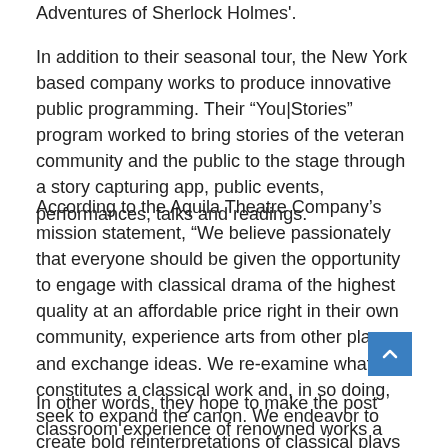Adventures of Sherlock Holmes'.
In addition to their seasonal tour, the New York based company works to produce innovative public programming. Their "You|Stories" program worked to bring stories of the veteran community and the public to the stage through a story capturing app, public events, performances, talks and readings.
According to the Aquila Theatre Company’s mission statement, “We believe passionately that everyone should be given the opportunity to engage with classical drama of the highest quality at an affordable price right in their own community, experience arts from other places and exchange ideas. We re-examine what constitutes a classical work and, in so doing, seek to expand the canon. We endeavor to create bold reinterpretations of classical plays for contemporary audiences that free the spirit of the original work and recreate the excitement of the live performance.”
In other words, they hope to make the post classroom experience of renowned works a little more interesting